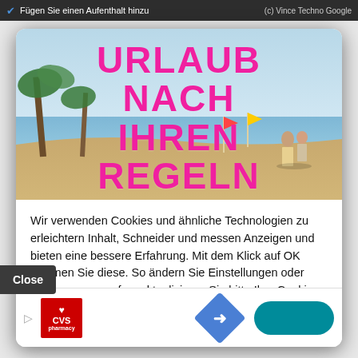Fügen Sie einen Aufenthalt hinzu   (c) Vince Techno Google
[Figure (screenshot): Beach scene with couple walking on sandy beach with palm trees, colorful flags, sunny sky. Overlay text reads URLAUB NACH IHREN REGELN in large pink/magenta bold letters, with BEACHSEARCHER in white below.]
Wir verwenden Cookies und ähnliche Technologien zu erleichtern Inhalt, Schneider und messen Anzeigen und bieten eine bessere Erfahrung. Mit dem Klick auf OK stimmen Sie diese. So ändern Sie Einstellungen oder Zustimmung errufen. aktualisieren Sie bitte Ihre Cookie-Einstellungen.
Close